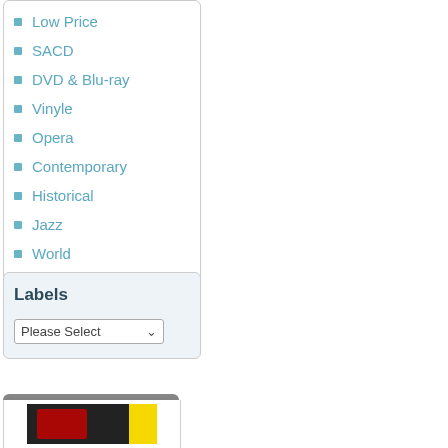Low Price
SACD
DVD & Blu-ray
Vinyle
Opera
Contemporary
Historical
Jazz
World
Clic Magazine >>
Labels
Please Select
What's New?
[Figure (photo): Album art thumbnail preview at bottom of panel]